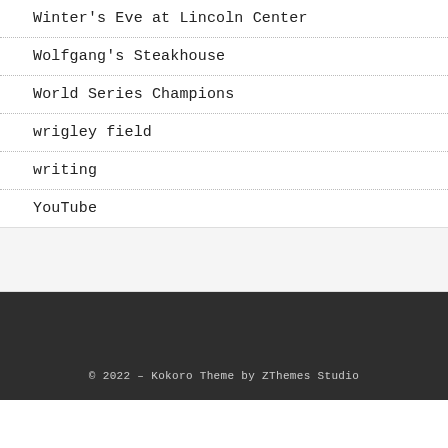Winter's Eve at Lincoln Center
Wolfgang's Steakhouse
World Series Champions
wrigley field
writing
YouTube
© 2022 – Kokoro Theme by ZThemes Studio